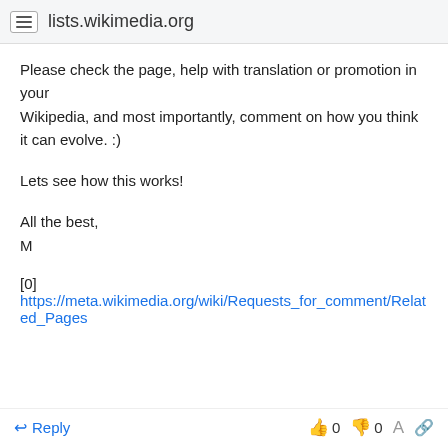lists.wikimedia.org
Please check the page, help with translation or promotion in your
Wikipedia, and most importantly, comment on how you think it can evolve. :)
Lets see how this works!
All the best,
M
[0]
https://meta.wikimedia.org/wiki/Requests_for_comment/Related_Pages